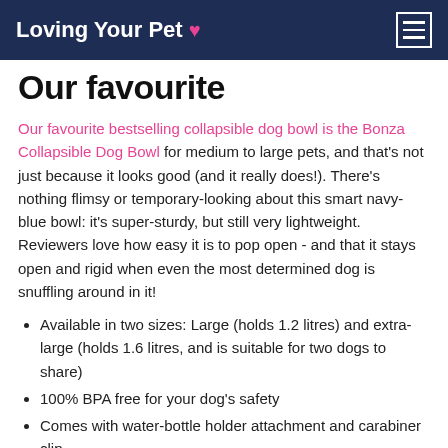Loving Your Pet ♥
Our favourite
Our favourite bestselling collapsible dog bowl is the Bonza Collapsible Dog Bowl for medium to large pets, and that's not just because it looks good (and it really does!). There's nothing flimsy or temporary-looking about this smart navy-blue bowl: it's super-sturdy, but still very lightweight. Reviewers love how easy it is to pop open - and that it stays open and rigid when even the most determined dog is snuffling around in it!
Available in two sizes: Large (holds 1.2 litres) and extra-large (holds 1.6 litres, and is suitable for two dogs to share)
100% BPA free for your dog's safety
Comes with water-bottle holder attachment and carabiner clip